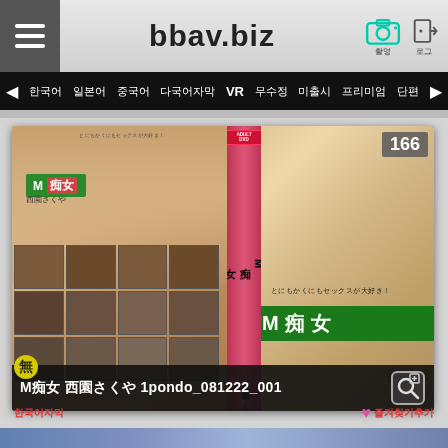bbav.biz
한국어 일본어 중국어 다국어자막 VR 무수정 미출시 프리미엄 단편
[Figure (screenshot): Adult DVD cover for 1pondo_081222_001 featuring Japanese adult video with M痴女 branding, number 166, multiple thumbnail scenes, showing a woman in bikini-style outfit]
M痴女 1pondo_081222_001
한국어자막 ♥ 즐겨찾기추가